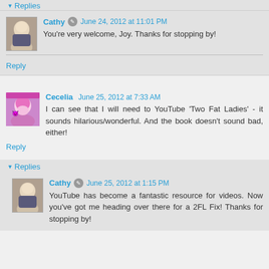▾ Replies
Cathy · June 24, 2012 at 11:01 PM
You're very welcome, Joy. Thanks for stopping by!
Reply
Cecelia  June 25, 2012 at 7:33 AM
I can see that I will need to YouTube 'Two Fat Ladies' - it sounds hilarious/wonderful. And the book doesn't sound bad, either!
Reply
▾ Replies
Cathy · June 25, 2012 at 1:15 PM
YouTube has become a fantastic resource for videos. Now you've got me heading over there for a 2FL Fix! Thanks for stopping by!